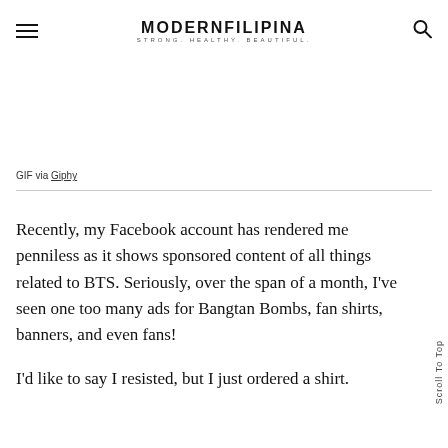MODERNFILIPINA STRONG. HEALTHY. BEAUTIFUL.
GIF via Giphy
Recently, my Facebook account has rendered me penniless as it shows sponsored content of all things related to BTS. Seriously, over the span of a month, I’ve seen one too many ads for Bangtan Bombs, fan shirts, banners, and even fans!
I’d like to say I resisted, but I just ordered a shirt.